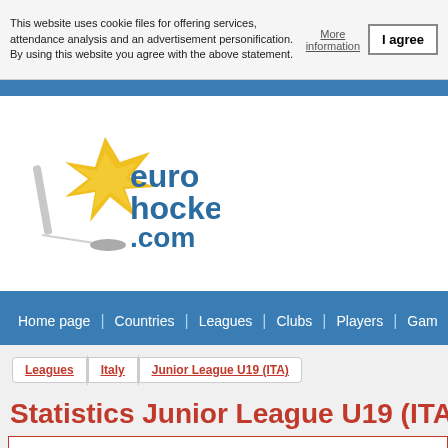This website uses cookie files for offering services, attendance analysis and an advertisement personification. By using this website you agree with the above statement.
More information
I agree
[Figure (logo): EuroHockey.com logo with yellow hockey stick/puck graphic and blue text 'eurohockey.com']
Home page | Countries | Leagues | Clubs | Players | Games
Leagues
Italy
Junior League U19 (ITA)
Statistics Junior League U19 (ITA)
Year: 2016-2017  Stage: Play off  Position: all skaters